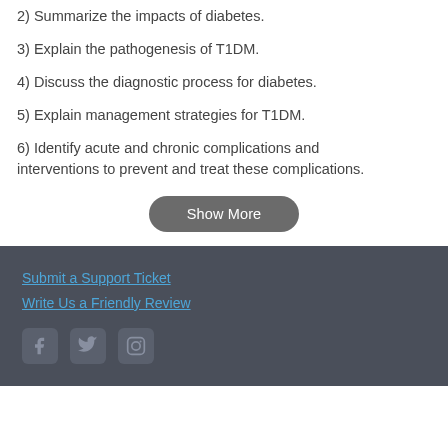2) Summarize the impacts of diabetes.
3) Explain the pathogenesis of T1DM.
4) Discuss the diagnostic process for diabetes.
5) Explain management strategies for T1DM.
6) Identify acute and chronic complications and interventions to prevent and treat these complications.
Show More
Submit a Support Ticket
Write Us a Friendly Review